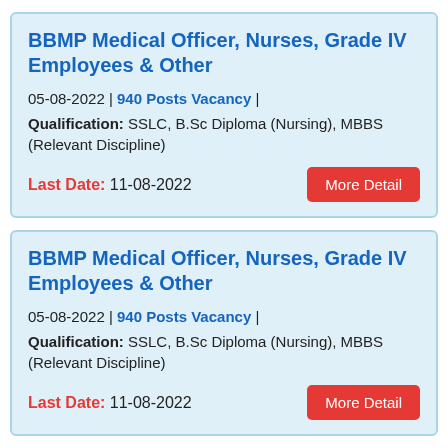BBMP Medical Officer, Nurses, Grade IV Employees & Other
05-08-2022 | 940 Posts Vacancy | Qualification: SSLC, B.Sc Diploma (Nursing), MBBS (Relevant Discipline)
Last Date: 11-08-2022
BBMP Medical Officer, Nurses, Grade IV Employees & Other
05-08-2022 | 940 Posts Vacancy | Qualification: SSLC, B.Sc Diploma (Nursing), MBBS (Relevant Discipline)
Last Date: 11-08-2022